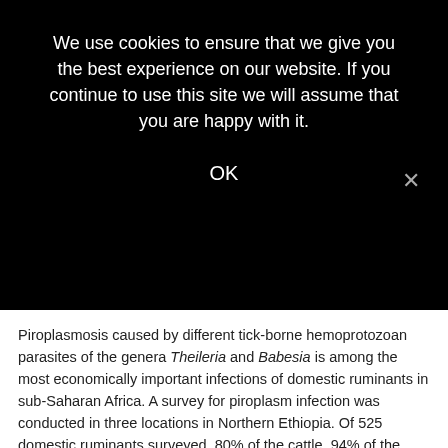We use cookies to ensure that we give you the best experience on our website. If you continue to use this site we will assume that you are happy with it.
OK
Piroplasmosis caused by different tick-borne hemoprotozoan parasites of the genera Theileria and Babesia is among the most economically important infections of domestic ruminants in sub-Saharan Africa. A survey for piroplasm infection was conducted in three locations in Northern Ethiopia. Of 525 domestic ruminants surveyed, 80% of the cattle, 94% of the sheep and 2% of the goats were positive for different Theileria spp. based on PCR of blood followed by DNA sequencing. Sheep had a significantly higher rate of infection compared with cattle (P < 0.0003) and both sheep and cattle had